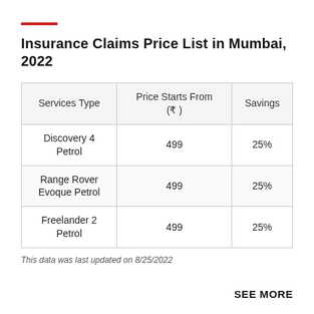Insurance Claims Price List in Mumbai, 2022
| Services Type | Price Starts From (₹) | Savings |
| --- | --- | --- |
| Discovery 4 Petrol | 499 | 25% |
| Range Rover Evoque Petrol | 499 | 25% |
| Freelander 2 Petrol | 499 | 25% |
This data was last updated on 8/25/2022